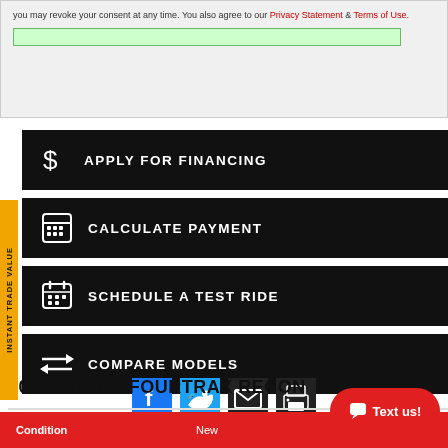you may revoke your consent at any time. You also agree to our Privacy Statement & Terms of Use.
APPLY FOR FINANCING
CALCULATE PAYMENT
SCHEDULE A TEST RIDE
COMPARE MODELS
[Figure (infographic): Social sharing icons: Facebook, Twitter, Email, Print]
2022 HONDA FOURTRAX RECON
| Condition | New |
| --- | --- |